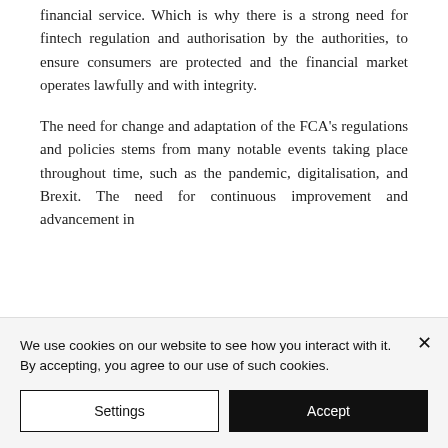financial service. Which is why there is a strong need for fintech regulation and authorisation by the authorities, to ensure consumers are protected and the financial market operates lawfully and with integrity.
The need for change and adaptation of the FCA's regulations and policies stems from many notable events taking place throughout time, such as the pandemic, digitalisation, and Brexit. The need for continuous improvement and advancement in
We use cookies on our website to see how you interact with it. By accepting, you agree to our use of such cookies.